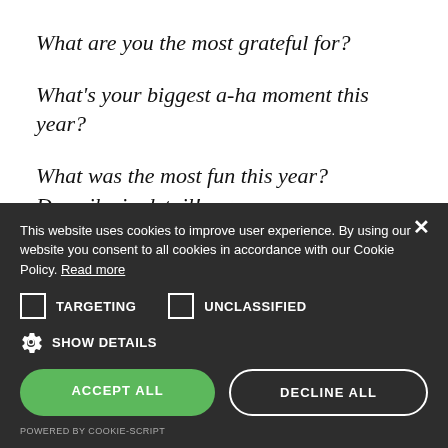What are you the most grateful for?
What's your biggest a-ha moment this year?
What was the most fun this year? Describe in detail!
What's that one experience this year that
This website uses cookies to improve user experience. By using our website you consent to all cookies in accordance with our Cookie Policy. Read more
TARGETING  UNCLASSIFIED
SHOW DETAILS
ACCEPT ALL
DECLINE ALL
POWERED BY COOKIE-SCRIPT